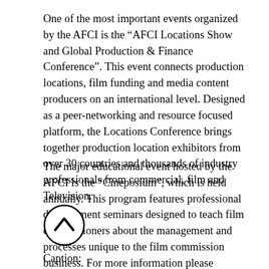One of the most important events organized by the AFCI is the “AFCI Locations Show and Global Production & Finance Conference”. This event connects production locations, film funding and media content producers on an international level. Designed as a peer-networking and resource focused platform, the Locations Conference brings together production location exhibitors from over 30 countries and thousands of industry professionals from commercial, film and Television.
The major educational event hosted by the AFCI is the “Cineposium”, which is held annually. This program features professional development seminars designed to teach film commissioners about the management and processes unique to the film commission business. For more information please www.afci.org.
[Figure (other): Navigation circle with upward chevron arrow icon]
Caption: